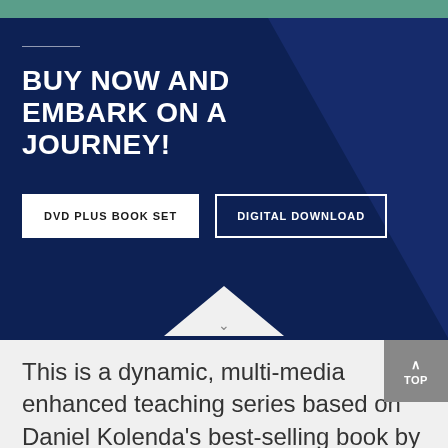BUY NOW AND EMBARK ON A JOURNEY!
DVD PLUS BOOK SET
DIGITAL DOWNLOAD
This is a dynamic, multi-media enhanced teaching series based on Daniel Kolenda's best-selling book by